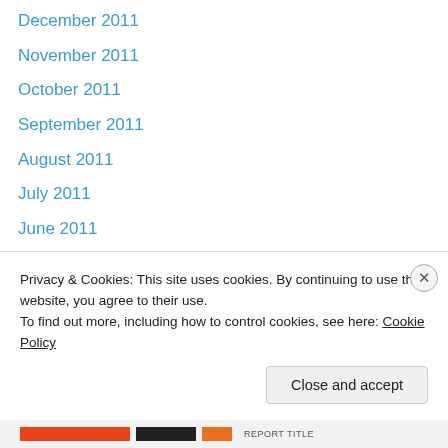December 2011
November 2011
October 2011
September 2011
August 2011
July 2011
June 2011
May 2011
April 2011
March 2011
July 2010
June 2010
May 2010
April 2010
Privacy & Cookies: This site uses cookies. By continuing to use this website, you agree to their use. To find out more, including how to control cookies, see here: Cookie Policy
Close and accept